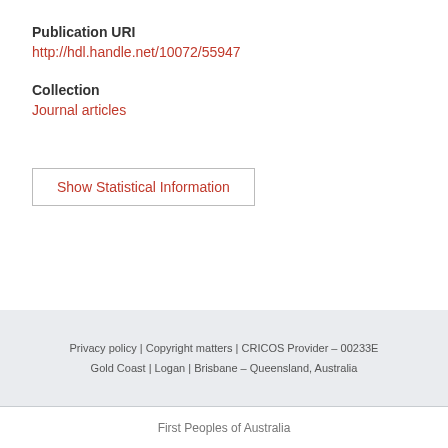Publication URI
http://hdl.handle.net/10072/55947
Collection
Journal articles
Show Statistical Information
Privacy policy | Copyright matters | CRICOS Provider – 00233E
Gold Coast | Logan | Brisbane – Queensland, Australia
First Peoples of Australia